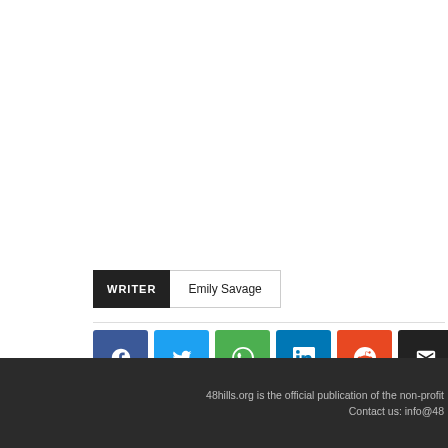WRITER  Emily Savage
[Figure (other): Social share buttons row: Facebook (blue), Twitter (light blue), WhatsApp (green), LinkedIn (dark blue), Reddit (orange-red), Email (black), Print (dark gray)]
48hills.org is the official publication of the non-profit  Contact us: info@48...